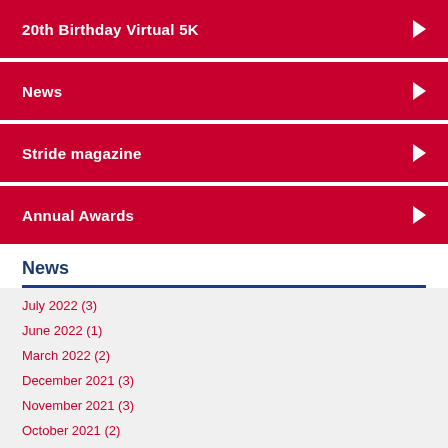20th Birthday Virtual 5K
News
Stride magazine
Annual Awards
News
July 2022 (3)
June 2022 (1)
March 2022 (2)
December 2021 (3)
November 2021 (3)
October 2021 (2)